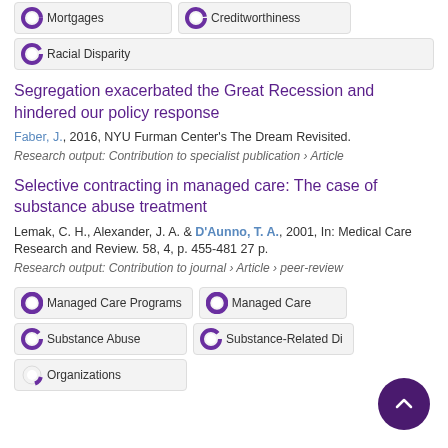Mortgages
Creditworthiness
Racial Disparity
Segregation exacerbated the Great Recession and hindered our policy response
Faber, J., 2016, NYU Furman Center's The Dream Revisited.
Research output: Contribution to specialist publication › Article
Selective contracting in managed care: The case of substance abuse treatment
Lemak, C. H., Alexander, J. A. & D'Aunno, T. A., 2001, In: Medical Care Research and Review. 58, 4, p. 455-481 27 p.
Research output: Contribution to journal › Article › peer-review
Managed Care Programs
Managed Care
Substance Abuse
Substance-Related Di...
Organizations